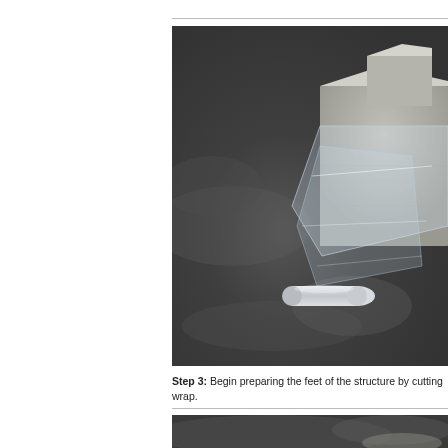[Figure (photo): Photo showing a concrete block structure being wrapped with clear plastic stretch wrap. The block sits on a dark surface with a roll of clear wrap visible in the foreground.]
Step 3: Begin preparing the feet of the structure by cutting wrap.
[Figure (photo): Partial photo visible at bottom of page showing a dark surface, beginning of next step.]